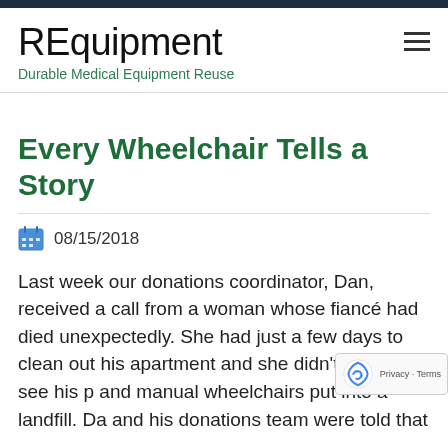REquipment
Durable Medical Equipment Reuse
Every Wheelchair Tells a Story
08/15/2018
Last week our donations coordinator, Dan, received a call from a woman whose fiancé had died unexpectedly. She had just a few days to clean out his apartment and she didn't want to see his p… and manual wheelchairs put into a landfill. Da… and his donations team were told that…